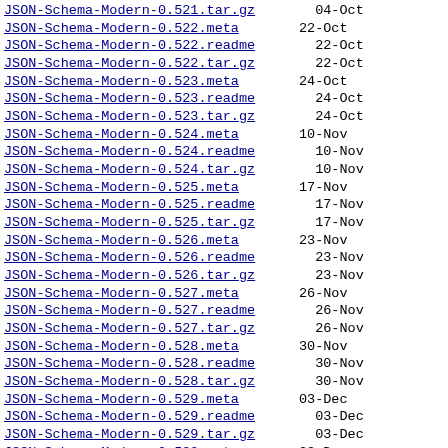JSON-Schema-Modern-0.521.tar.gz   04-Oct
JSON-Schema-Modern-0.522.meta   22-Oct
JSON-Schema-Modern-0.522.readme   22-Oct
JSON-Schema-Modern-0.522.tar.gz   22-Oct
JSON-Schema-Modern-0.523.meta   24-Oct
JSON-Schema-Modern-0.523.readme   24-Oct
JSON-Schema-Modern-0.523.tar.gz   24-Oct
JSON-Schema-Modern-0.524.meta   10-Nov
JSON-Schema-Modern-0.524.readme   10-Nov
JSON-Schema-Modern-0.524.tar.gz   10-Nov
JSON-Schema-Modern-0.525.meta   17-Nov
JSON-Schema-Modern-0.525.readme   17-Nov
JSON-Schema-Modern-0.525.tar.gz   17-Nov
JSON-Schema-Modern-0.526.meta   23-Nov
JSON-Schema-Modern-0.526.readme   23-Nov
JSON-Schema-Modern-0.526.tar.gz   23-Nov
JSON-Schema-Modern-0.527.meta   26-Nov
JSON-Schema-Modern-0.527.readme   26-Nov
JSON-Schema-Modern-0.527.tar.gz   26-Nov
JSON-Schema-Modern-0.528.meta   30-Nov
JSON-Schema-Modern-0.528.readme   30-Nov
JSON-Schema-Modern-0.528.tar.gz   30-Nov
JSON-Schema-Modern-0.529.meta   03-Dec
JSON-Schema-Modern-0.529.readme   03-Dec
JSON-Schema-Modern-0.529.tar.gz   03-Dec
JSON-Schema-Modern-0.530.meta   03-Dec
JSON-Schema-Modern-0.530.readme   03-Dec
JSON-Schema-Modern-0.530.tar.gz   03-Dec
JSON-Schema-Modern-0.531.meta   06-Dec
JSON-Schema-Modern-0.531.readme   06-Dec